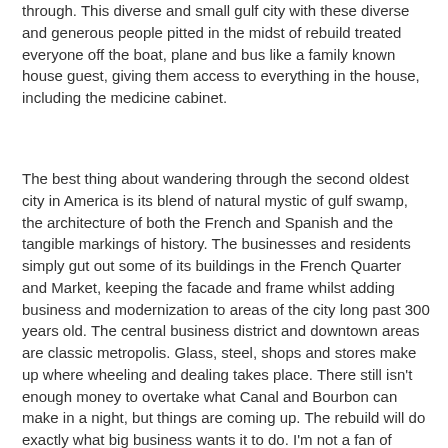through. This diverse and small gulf city with these diverse and generous people pitted in the midst of rebuild treated everyone off the boat, plane and bus like a family known house guest, giving them access to everything in the house, including the medicine cabinet.
The best thing about wandering through the second oldest city in America is its blend of natural mystic of gulf swamp, the architecture of both the French and Spanish and the tangible markings of history. The businesses and residents simply gut out some of its buildings in the French Quarter and Market, keeping the facade and frame whilst adding business and modernization to areas of the city long past 300 years old. The central business district and downtown areas are classic metropolis. Glass, steel, shops and stores make up where wheeling and dealing takes place. There still isn't enough money to overtake what Canal and Bourbon can make in a night, but things are coming up. The rebuild will do exactly what big business wants it to do. I'm not a fan of gentrification, but I do understand that the footprint of the rich that want to play will overtake the will of the street vendor in a mere few years.